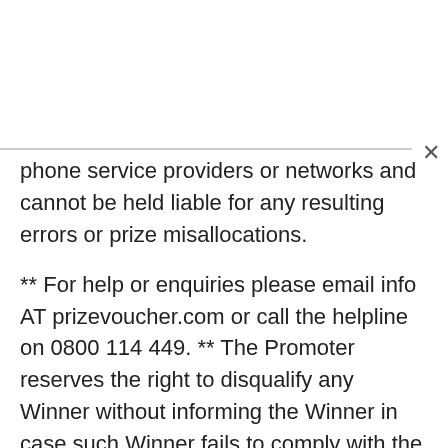phone service providers or networks and cannot be held liable for any resulting errors or prize misallocations.
** For help or enquiries please email info AT prizevoucher.com or call the helpline on 0800 114 449. ** The Promoter reserves the right to disqualify any Winner without informing the Winner in case such Winner fails to comply with the Promotion's terms and conditions.
** All terms and conditions are subject to the laws of Republic of South Africa and should a doubt or dispute occur, it will be taken before the courts of Republic of